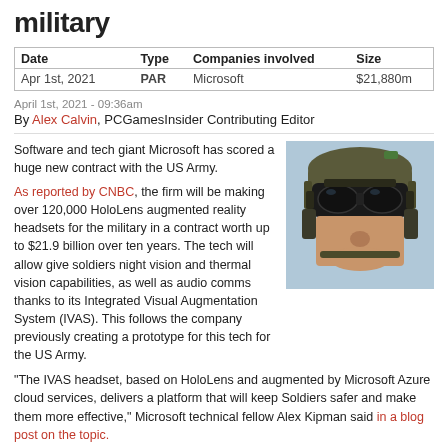military
| Date | Type | Companies involved | Size |
| --- | --- | --- | --- |
| Apr 1st, 2021 | PAR | Microsoft | $21,880m |
April 1st, 2021 - 09:36am
By Alex Calvin, PCGamesInsider Contributing Editor
Software and tech giant Microsoft has scored a huge new contract with the US Army.

As reported by CNBC, the firm will be making over 120,000 HoloLens augmented reality headsets for the military in a contract worth up to $21.9 billion over ten years. The tech will allow give soldiers night vision and thermal vision capabilities, as well as audio comms thanks to its Integrated Visual Augmentation System (IVAS). This follows the company previously creating a prototype for this tech for the US Army.
[Figure (photo): Soldier wearing HoloLens augmented reality headset and military helmet]
"The IVAS headset, based on HoloLens and augmented by Microsoft Azure cloud services, delivers a platform that will keep Soldiers safer and make them more effective," Microsoft technical fellow Alex Kipman said in a blog post on the topic.